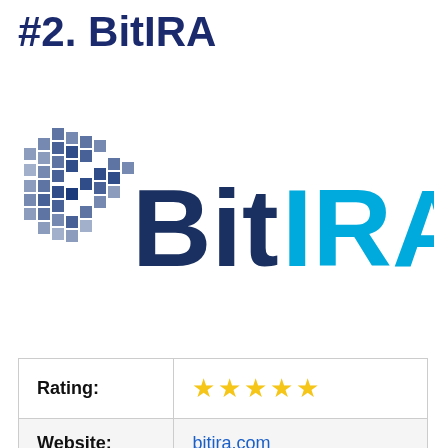#2. BitIRA
[Figure (logo): BitIRA logo with pixelated 'B' icon in dark blue on the left and 'BitIRA' text where 'Bit' is dark blue and 'IRA' is light blue]
| Rating: | ★★★★★ |
| Website: | bitira.com |